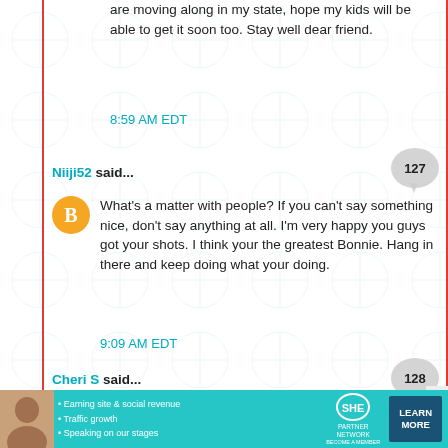are moving along in my state, hope my kids will be able to get it soon too. Stay well dear friend.
8:59 AM EDT
Niiji52 said...
What's a matter with people? If you can't say something nice, don't say anything at all. I'm very happy you guys got your shots. I think your the greatest Bonnie. Hang in there and keep doing what your doing.
9:09 AM EDT
Cheri S said...
Congratulations! My great aunt also had polio as a child and became a doctor despite the limp it left her with. Please take care of yourselves. My 2nd Moderna, on Mar 11, knocked me down for about 4 days. Its still a small price to pay for the gift of
[Figure (infographic): Advertisement banner for SHE Partner Network with photo of a woman, bullet points about earning site & social revenue, traffic growth, speaking on stages, SHE logo, and Learn More button]